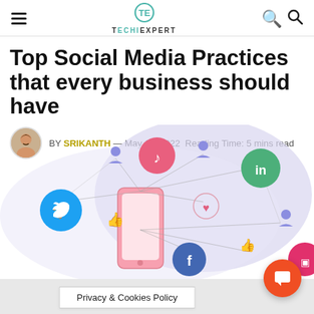TECHIEXPERT
Top Social Media Practices that every business should have
BY SRIKANTH — May 10, 2022  Reading Time: 5 mins read
[Figure (illustration): Social media icons illustration: Twitter, TikTok, LinkedIn, Facebook, Instagram with user figures, likes, and hearts connected by lines, with a smartphone in the center]
Privacy & Cookies Policy